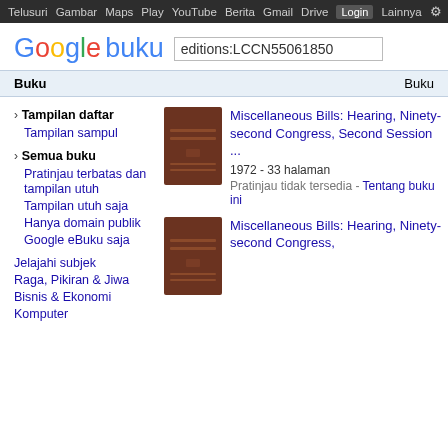Telusuri  Gambar  Maps  Play  YouTube  Berita  Gmail  Drive  Login  Lainnya  [settings]
[Figure (logo): Google buku logo with multicolor Google text and 'buku' in blue]
editions:LCCN55061850
Buku    Buku
› Tampilan daftar
Tampilan sampul
› Semua buku
Pratinjau terbatas dan tampilan utuh
Tampilan utuh saja
Hanya domain publik
Google eBuku saja
Jelajahi subjek
Raga, Pikiran & Jiwa
Bisnis & Ekonomi
Komputer
[Figure (photo): Brown book cover thumbnail for Miscellaneous Bills hearing]
Miscellaneous Bills: Hearing, Ninety-second Congress, Second Session ...
1972 - 33 halaman
Pratinjau tidak tersedia - Tentang buku ini
[Figure (photo): Brown book cover thumbnail for second Miscellaneous Bills hearing]
Miscellaneous Bills: Hearing, Ninety-second Congress,